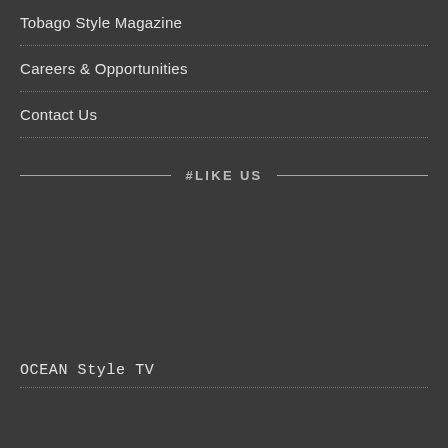Tobago Style Magazine
Careers & Opportunities
Contact Us
#LIKE US
OCEAN Style TV